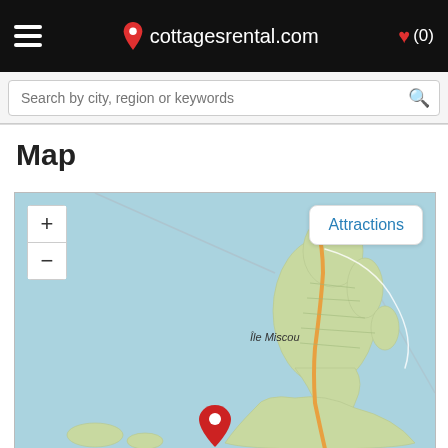cottagesrental.com ♥ (0)
Search by city, region or keywords
Map
[Figure (map): Interactive map showing Île Miscou island and surrounding coastal waters in New Brunswick, Canada. The map displays a green land area with an orange road running through it on a light blue water background. Zoom controls (+/-) are in the top-left corner, and an 'Attractions' button is in the top-right. A red location pin is visible at the bottom center of the map.]